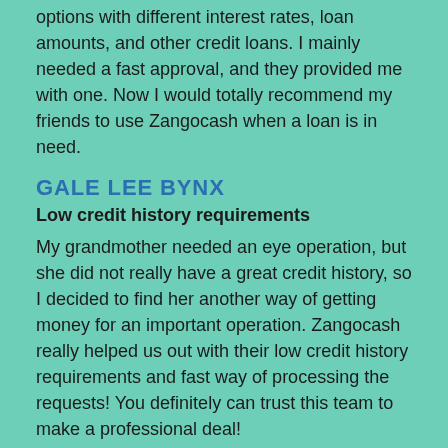options with different interest rates, loan amounts, and other credit loans. I mainly needed a fast approval, and they provided me with one. Now I would totally recommend my friends to use Zangocash when a loan is in need.
GALE LEE BYNX
Low credit history requirements
My grandmother needed an eye operation, but she did not really have a great credit history, so I decided to find her another way of getting money for an important operation. Zangocash really helped us out with their low credit history requirements and fast way of processing the requests! You definitely can trust this team to make a professional deal!
MICHAEL HERNANDEZ
Easy comparison of several lenders
Zangocash user-friendly interface allowed me to compare several creditors on one website because of their big...